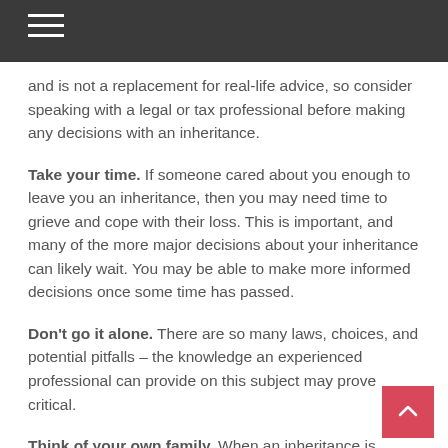and is not a replacement for real-life advice, so consider speaking with a legal or tax professional before making any decisions with an inheritance.
Take your time. If someone cared about you enough to leave you an inheritance, then you may need time to grieve and cope with their loss. This is important, and many of the more major decisions about your inheritance can likely wait. You may be able to make more informed decisions once some time has passed.
Don't go it alone. There are so many laws, choices, and potential pitfalls – the knowledge an experienced professional can provide on this subject may prove critical.
Think of your own family. When an inheritance is received, it may alter the course of your own financial strategy. Be sure to take that into consideration.